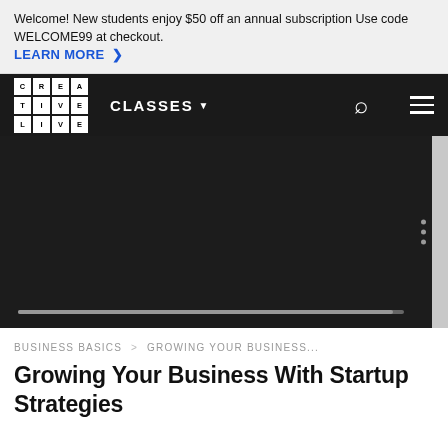Welcome! New students enjoy $50 off an annual subscription Use code WELCOME99 at checkout. LEARN MORE ❯
[Figure (screenshot): CreativeLive navigation bar with logo grid, CLASSES menu, search icon, and hamburger menu on black background]
[Figure (screenshot): Dark video player area with progress/scrollbar at bottom and vertical dots menu on right side]
BUSINESS BASICS > GROWING YOUR BUSINESS...
Growing Your Business With Startup Strategies